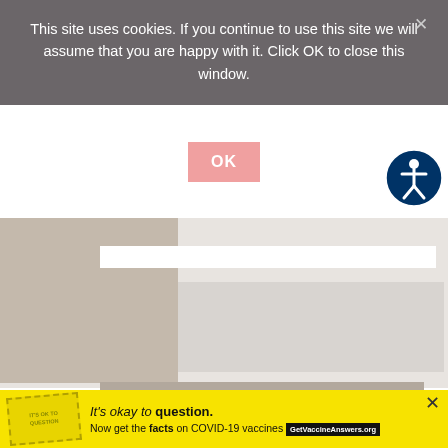This site uses cookies. If you continue to use this site we will assume that you are happy with it. Click OK to close this window.
[Figure (other): Pink OK button for cookie consent]
[Figure (other): Accessibility icon - blue circle with white person figure]
subscribe now
Truth be told, I probably won't email you all that often. If I do, it will be for something really really good.
First Name
[Figure (other): Advertisement banner: It's okay to question. Now get the facts on COVID-19 vaccines. GetVaccineAnswers.org]
[Figure (logo): W degree symbol logo in white]